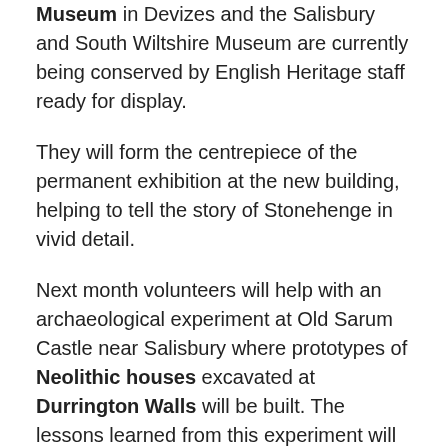Museum in Devizes and the Salisbury and South Wiltshire Museum are currently being conserved by English Heritage staff ready for display.
They will form the centrepiece of the permanent exhibition at the new building, helping to tell the story of Stonehenge in vivid detail.
Next month volunteers will help with an archaeological experiment at Old Sarum Castle near Salisbury where prototypes of Neolithic houses excavated at Durrington Walls will be built. The lessons learned from this experiment will inform the reconstruction of three Neolithic houses at the outdoor gallery of the new visitor centre in Spring 2014, offering visitors a glimpse of the lives of prehistoric people.
The A344 road between Stonehenge Bottom and Byway